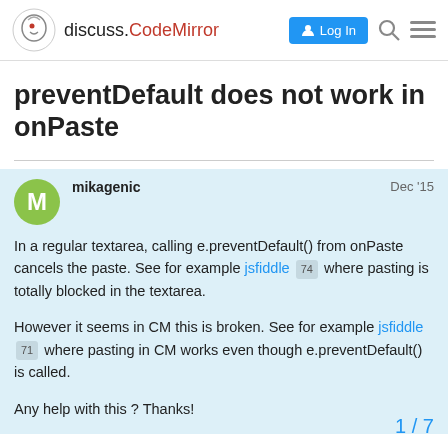discuss.CodeMirror — Log In
preventDefault does not work in onPaste
mikagenic  Dec '15

In a regular textarea, calling e.preventDefault() from onPaste cancels the paste. See for example jsfiddle 74 where pasting is totally blocked in the textarea.

However it seems in CM this is broken. See for example jsfiddle 71 where pasting in CM works even though e.preventDefault() is called.

Any help with this ? Thanks!
1 / 7